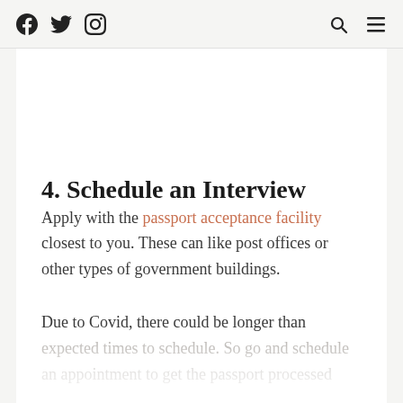[Social media icons: Facebook, Twitter, Instagram] [Search icon] [Menu icon]
4. Schedule an Interview
Apply with the passport acceptance facility closest to you. These can like post offices or other types of government buildings.
Due to Covid, there could be longer than expected times to schedule. So go and schedule an appointment to get the passport processed